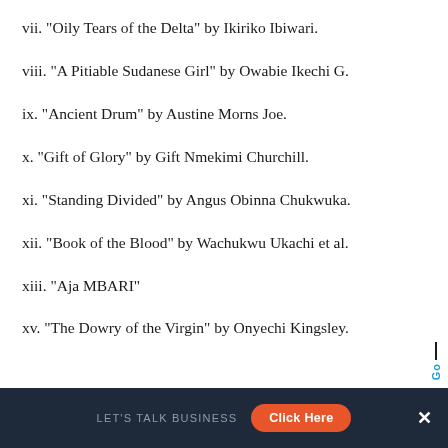vii. "Oily Tears of the Delta" by Ikiriko Ibiwari.
viii. "A Pitiable Sudanese Girl" by Owabie Ikechi G.
ix. "Ancient Drum" by Austine Morns Joe.
x. "Gift of Glory" by Gift Nmekimi Churchill.
xi. "Standing Divided" by Angus Obinna Chukwuka.
xii. "Book of the Blood" by Wachukwu Ukachi et al.
xiii. "Aja MBARI"
xv. "The Dowry of the Virgin" by Onyechi Kingsley.
LET'S TALK BUSINESS  Click Here  X